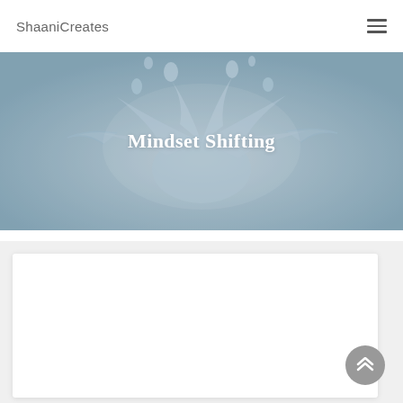ShaaniCreates
[Figure (photo): Water splash photograph with blue tones used as hero banner background]
Mindset Shifting
[Figure (other): White content card area on light grey background below the hero banner]